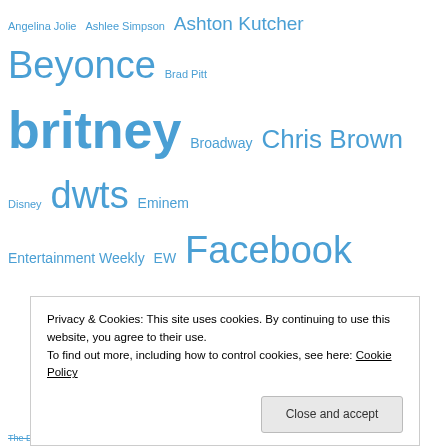[Figure (infographic): Tag cloud of celebrity and entertainment-related keywords in various sizes, all in blue, representing frequency/popularity. Tags include: Angelina Jolie, Ashlee Simpson, Ashton Kutcher, Beyonce, Brad Pitt, britney, Broadway, Chris Brown, Disney, dwts, Eminem, Entertainment Weekly, EW, Facebook, Gawker, Golden Globes, gossip girl, Grammys, Grey's Anatomy, hollywood, HSM, Jay Leno, Jennifer Aniston, Jennifer Hudson, Jessica Simpson, John Travolta, Jossip, Justin Timberlake, Kanye West, Katy Perry, Lindsay Lohan, Lost, Madonna, Michael Phelps, Miley Cyrus, MTV, MySpace, nbc, Newsday, New York Times, NYT, obama, One, The Dark Knight, The Real World, THE VIEW, Tori Spelling, Travis Barker, TRL]
Privacy & Cookies: This site uses cookies. By continuing to use this website, you agree to their use. To find out more, including how to control cookies, see here: Cookie Policy
Close and accept
The Dark Knight The Real World THE VIEW Tori Spelling Travis Barker TRL